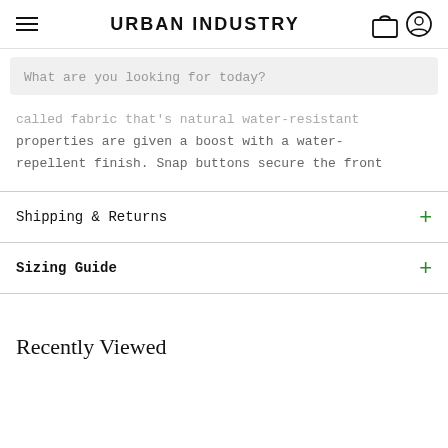URBAN INDUSTRY
What are you looking for today?
called fabric that's natural water-resistant properties are given a boost with a water-repellent finish. Snap buttons secure the front
Shipping & Returns
Sizing Guide
Recently Viewed